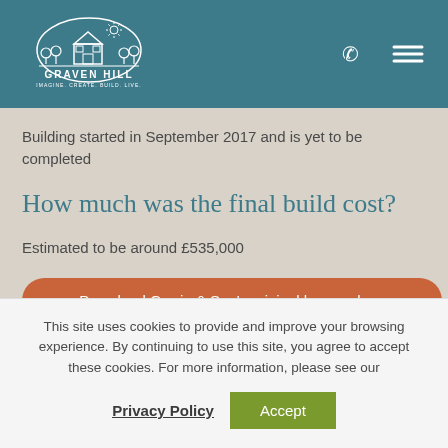[Figure (logo): Graven Hill logo — white line-art illustration of a house with trees and sun on teal background, text GRAVEN HILL and tagline IMAGINE. CREATE. BUILD. LIVE.]
Building started in September 2017 and is yet to be completed
How much was the final build cost?
Estimated to be around £535,000
Download Garrie & Sue's original house plans
This site uses cookies to provide and improve your browsing experience. By continuing to use this site, you agree to accept these cookies. For more information, please see our
Privacy Policy
Accept